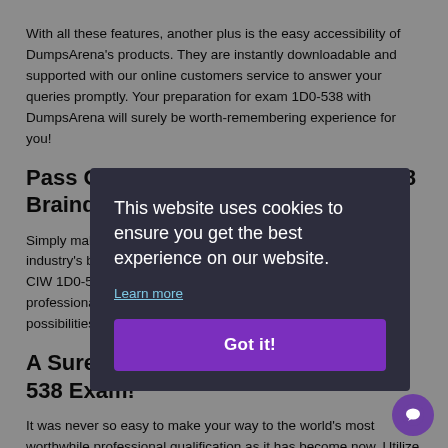With all these features, another plus is the easy accessibility of DumpsArena's products. They are instantly downloadable and supported with our online customers service to answer your queries promptly. Your preparation for exam 1D0-538 with DumpsArena will surely be worth-remembering experience for you!
Pass CIW Certification Exam 1D0-538 Braindumps
Simply make sure your grasp on the IT braindumps devised the industry's best IT specialists and get 100% assured success in CIW 1D0-538 exam. A CIW credential, being the most important professional qualification, can open up doors of many job possibilities for you.
A Sure Way to Success in the 1D0-538 Exam!
It was never so easy to make your way to the world's most worthwhile professional qualification as it has become now. Utilize the CIW 1D0-538 Object Oriented Analysis and Design exam — BRAIN dumping these questions as well are the most suitable choice to ensure your success in just one go. You can easily answer all exam questions by doing our CIW 1D0-538 exam dumps frequently. Moreover grinding
This website uses cookies to ensure you get the best experience on our website.
Learn more
Got it!